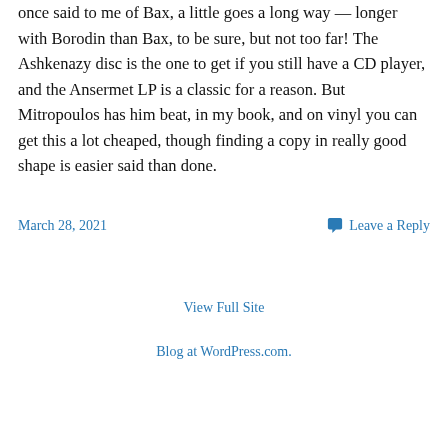once said to me of Bax, a little goes a long way — longer with Borodin than Bax, to be sure, but not too far! The Ashkenazy disc is the one to get if you still have a CD player, and the Ansermet LP is a classic for a reason. But Mitropoulos has him beat, in my book, and on vinyl you can get this a lot cheaped, though finding a copy in really good shape is easier said than done.
March 28, 2021
Leave a Reply
View Full Site
Blog at WordPress.com.